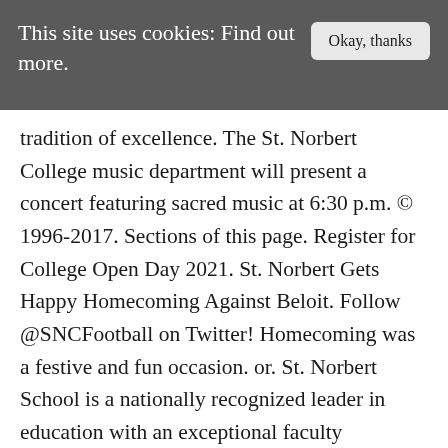This site uses cookies: Find out more.   Okay, thanks
tradition of excellence. The St. Norbert College music department will present a concert featuring sacred music at 6:30 p.m. © 1996-2017. Sections of this page. Register for College Open Day 2021. St. Norbert Gets Happy Homecoming Against Beloit. Follow @SNCFootball on Twitter! Homecoming was a festive and fun occasion. or. St. Norbert School is a nationally recognized leader in education with an exceptional faculty dedicated to educating the whole child. The game will take place in the Mulva Family Fitness & Sports Center, 601 Third St., De Pere. See more of St. Norbert College on Facebook. Both events